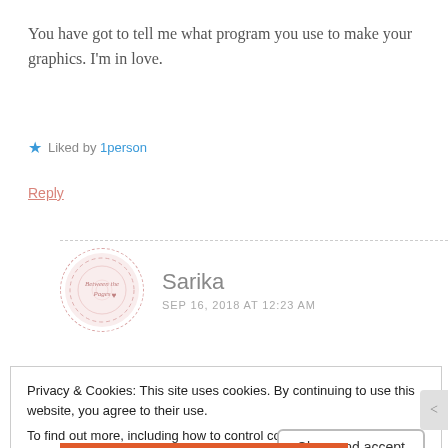You have got to tell me what program you use to make your graphics. I'm in love.
★ Liked by 1person
Reply
Sarika
SEP 16, 2018 AT 12:23 AM
Privacy & Cookies: This site uses cookies. By continuing to use this website, you agree to their use.
To find out more, including how to control cookies, see here: Cookie Policy
Close and accept